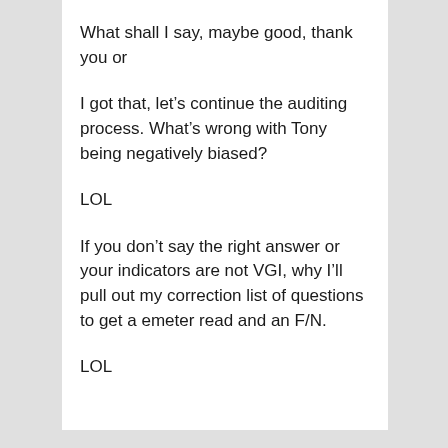What shall I say, maybe good, thank you or
I got that, let’s continue the auditing process. What’s wrong with Tony being negatively biased?
LOL
If you don’t say the right answer or your indicators are not VGI, why I’ll pull out my correction list of questions to get a emeter read and an F/N.
LOL